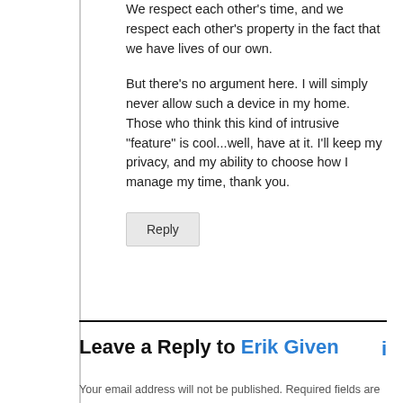We respect each other's time, and we respect each other's property in the fact that we have lives of our own.
But there's no argument here. I will simply never allow such a device in my home. Those who think this kind of intrusive "feature" is cool...well, have at it. I'll keep my privacy, and my ability to choose how I manage my time, thank you.
Reply
Leave a Reply to Erik Given
Your email address will not be published. Required fields are